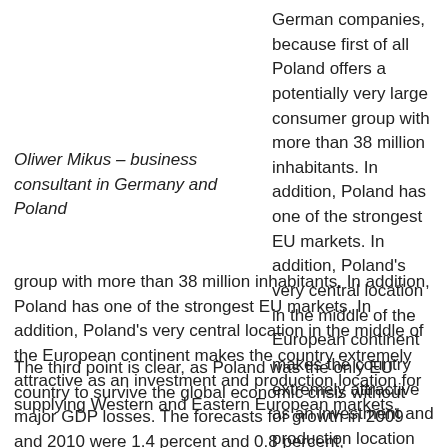German companies, because first of all Poland offers a potentially very large consumer group with more than 38 million inhabitants. In addition, Poland has one of the strongest EU markets. In addition, Poland's very central location in the middle of the European continent makes the country extremely attractive as an investment and production location for supplying Western and Eastern European markets.
Oliwer Mikus – business consultant in Germany and Poland
The third point is clear, as Poland was the only EU country to survive the global economic crisis without major GDP losses. The forecasts for growth in 2009 and 2010 were 1.4 percent and 0.8 percent, respectively. From 2004 to 2008,